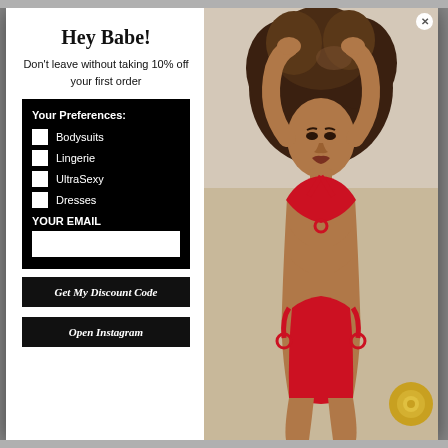Hey Babe!
Don't leave without taking 10% off your first order
Your Preferences: Bodysuits, Lingerie, UltraSexy, Dresses
YOUR EMAIL
Get My Discount Code
Open Instagram
[Figure (photo): A woman in a red cut-out monokini swimsuit posing with arms raised, curly hair, on a white/light background.]